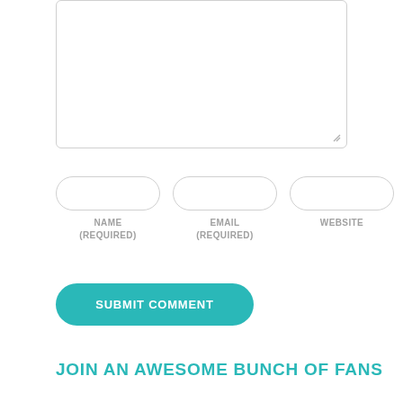[Figure (screenshot): A comment form textarea box with resize handle in bottom-right corner]
NAME (REQUIRED)
EMAIL (REQUIRED)
WEBSITE
SUBMIT COMMENT
JOIN AN AWESOME BUNCH OF FANS